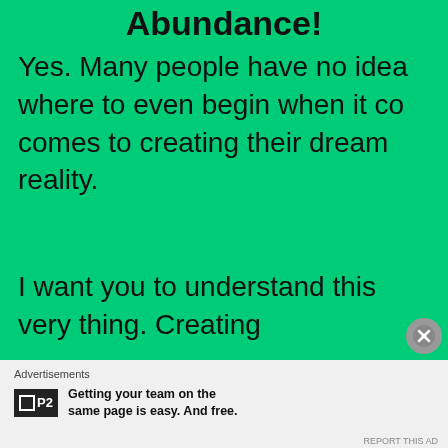Abundance!
Yes. Many people have no idea where to even begin when it co comes to creating their dream reality.
I want you to understand this very thing. Creating
Advertisements
Getting your team on the same page is easy. And free.